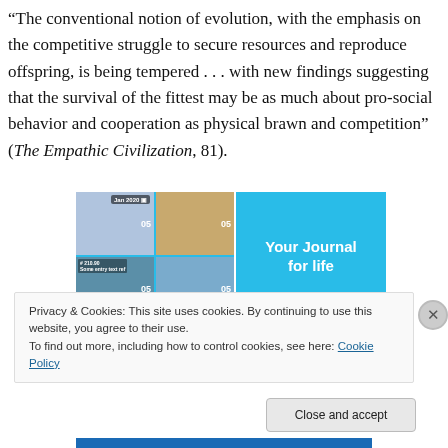“The conventional notion of evolution, with the emphasis on the competitive struggle to secure resources and reproduce offspring, is being tempered . . . with new findings suggesting that the survival of the fittest may be as much about pro-social behavior and cooperation as physical brawn and competition” (The Empathic Civilization, 81).
[Figure (screenshot): App advertisement showing a journal app with blue background, grid of lifestyle photos on the left, and 'Your Journal for life' text on the right]
Privacy & Cookies: This site uses cookies. By continuing to use this website, you agree to their use.
To find out more, including how to control cookies, see here: Cookie Policy
Close and accept